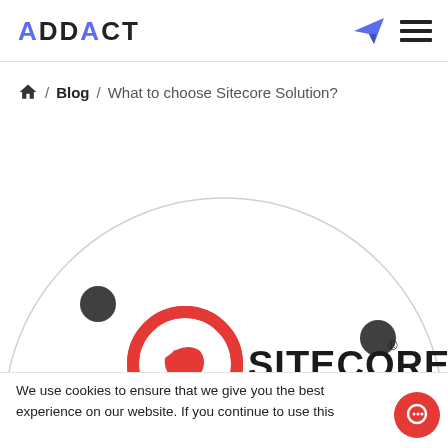ADDACT
/ Blog / What to choose Sitecore Solution?
[Figure (illustration): A circular diagram with gray arc, two dark gray dots on the arc, and the Sitecore logo (red circular icon with white arrow and SITECORE text) in the center lower area]
We use cookies to ensure that we give you the best experience on our website. If you continue to use this